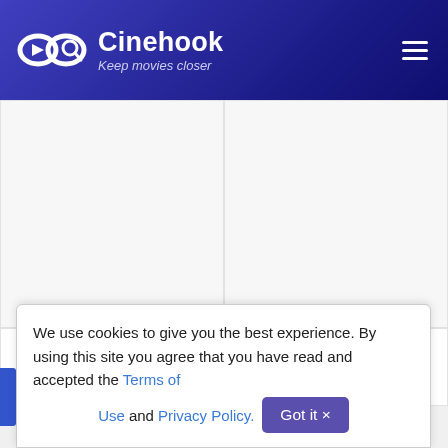Cinehook – Keep movies closer
[Figure (other): Blank movie poster placeholder (left)]
[Figure (other): Blank movie poster placeholder (right)]
Cut/Print 2012
The Dunes 2019
We use cookies to give you the best experience. By using this site you agree that you have read and accepted the Terms of Use and Privacy Policy. Got it ×